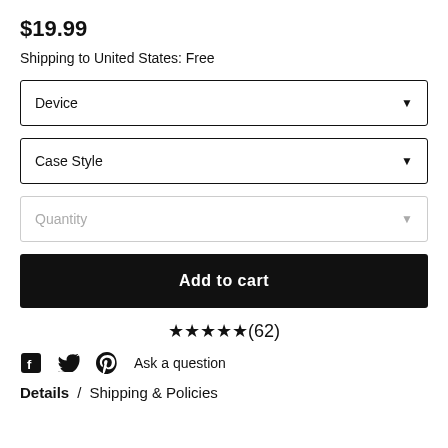$19.99
Shipping to United States: Free
Device (dropdown)
Case Style (dropdown)
Quantity (dropdown)
Add to cart
★★★★★(62)
Ask a question
Details / Shipping & Policies